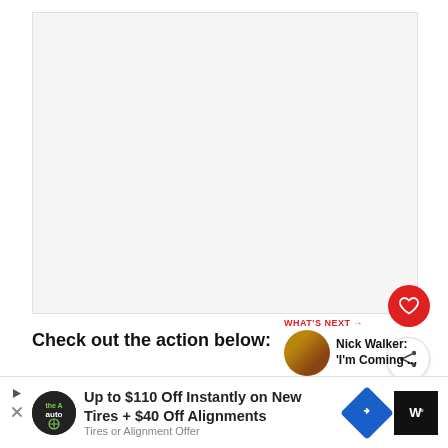[Figure (other): Large blank/light-gray content area, likely a video or image embed placeholder]
[Figure (other): Red circular heart/like button]
[Figure (other): White circular share/add button]
Check out the action below:
[Figure (other): What's Next panel with thumbnail and label 'WHAT'S NEXT →' and title 'Nick Walker: I'm Coming ...']
[Figure (other): UFC tweet card at bottom with avatar and Twitter icon]
[Figure (other): Advertisement bar: 'Up to $110 Off Instantly on New Tires + $40 Off Alignments' with Tire auto logo, direction arrow icon, and W° icon]